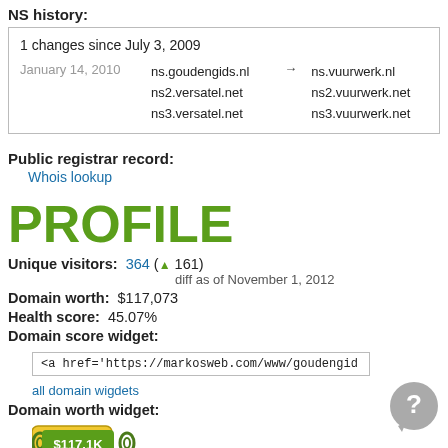NS history:
| 1 changes since July 3, 2009 |
| January 14, 2010 | ns.goudengids.nl
ns2.versatel.net
ns3.versatel.net | → | ns.vuurwerk.nl
ns2.vuurwerk.net
ns3.vuurwerk.net |
Public registrar record:
Whois lookup
PROFILE
Unique visitors: 364 (▲ 161)
diff as of November 1, 2012
Domain worth: $117,073
Health score: 45.07%
Domain score widget:
<a href='https://markosweb.com/www/goudengid
all domain wigdets
Domain worth widget:
[Figure (other): Domain worth badge showing $117.1K in green with chain links]
<a href='https://markosweb.com/www/goudengid